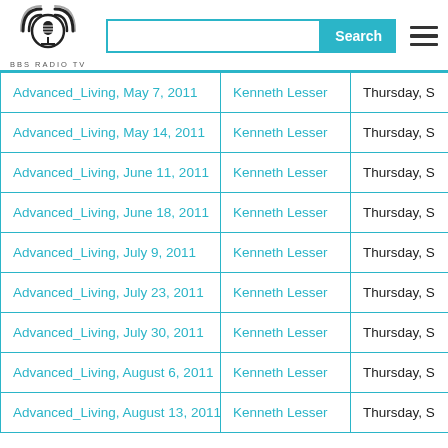[Figure (logo): BBS Radio TV logo - circular radio/microphone icon with sound waves, black and white]
| Title | Host | Date |
| --- | --- | --- |
| Advanced_Living, May 7, 2011 | Kenneth Lesser | Thursday, S… |
| Advanced_Living, May 14, 2011 | Kenneth Lesser | Thursday, S… |
| Advanced_Living, June 11, 2011 | Kenneth Lesser | Thursday, S… |
| Advanced_Living, June 18, 2011 | Kenneth Lesser | Thursday, S… |
| Advanced_Living, July 9, 2011 | Kenneth Lesser | Thursday, S… |
| Advanced_Living, July 23, 2011 | Kenneth Lesser | Thursday, S… |
| Advanced_Living, July 30, 2011 | Kenneth Lesser | Thursday, S… |
| Advanced_Living, August 6, 2011 | Kenneth Lesser | Thursday, S… |
| Advanced_Living, August 13, 2011 | Kenneth Lesser | Thursday, S… |